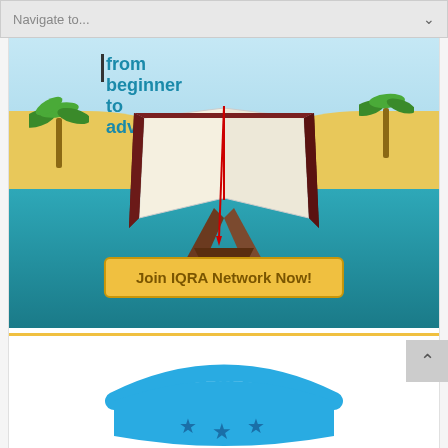Navigate to...
[Figure (illustration): IQRA Network promotional banner showing an open Quran on a wooden stand, set against a scenic background with palm trees, sandy dunes, and a teal body of water. Text reads 'from beginner to advanced'. A yellow button at the bottom reads 'Join IQRA Network Now!']
[Figure (illustration): Partial view of a blue badge/shield with stars and dashed border lines, visible at the bottom of the page.]